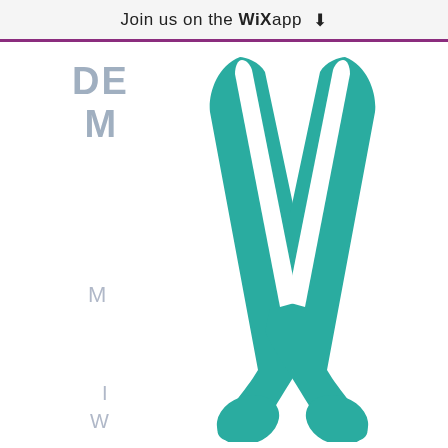Join us on the WiX app ⬇
DE
M
M
I
W
[Figure (logo): Teal/turquoise stylized crossed spoons or paddles forming an M or X shape — a logo mark]